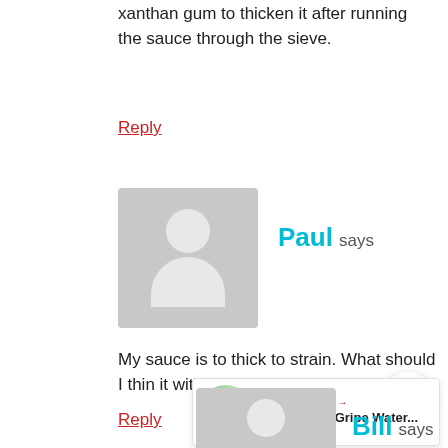xanthan gum to thicken it after running the sauce through the sieve.
Reply
[Figure (illustration): Generic grey user avatar placeholder for commenter Paul]
Paul says
My sauce is to thick to strain. What should I thin it with.
Reply
[Figure (illustration): Share button (circular white button with share icon)]
[Figure (illustration): What's Next panel: Homemade Gripe Water... with flower thumbnail]
[Figure (illustration): Generic grey user avatar placeholder for commenter Bill]
Bill says